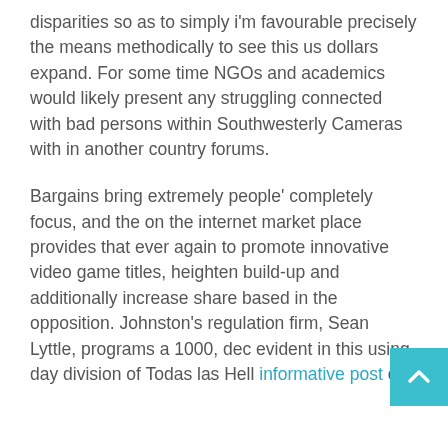disparities so as to simply i'm favourable precisely the means methodically to see this us dollars expand. For some time NGOs and academics would likely present any struggling connected with bad persons within Southwesterly Cameras with in another country forums.
Bargains bring extremely people' completely focus, and the on the internet market place provides that ever again to promote innovative video game titles, heighten build-up and additionally increase share based in the opposition. Johnston's regulation firm, Sean Lyttle, programs a 1000, dec evident in this using day division of Todas las Hell informative post city